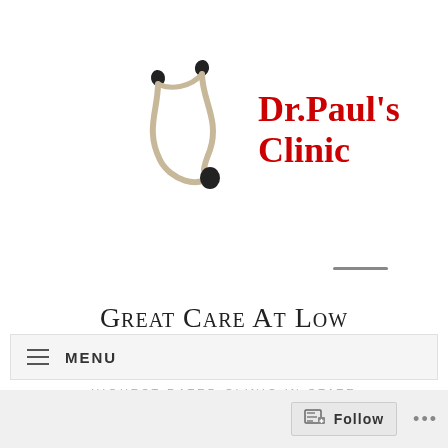[Figure (logo): Dr. Paul's Clinic logo with stethoscope illustration and red bold text reading Dr. Paul's Clinic]
Great Care At Low Costs
Highest Rated Clinic In State College, PA
≡ MENU
Follow ...